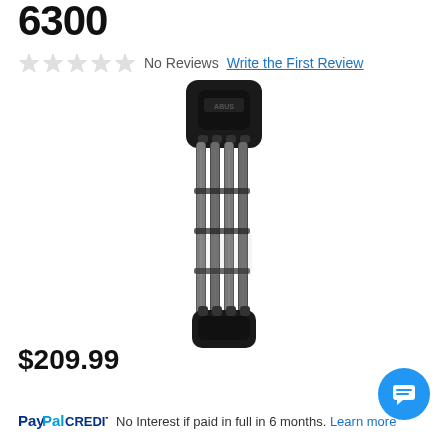6300
No Reviews  Write the First Review
[Figure (photo): ABUS 6300 folding bike lock in black, shown folded vertically with segmented steel bars and black housing at top and bottom]
$209.99
PayPal CREDIT  No Interest if paid in full in 6 months. Learn more